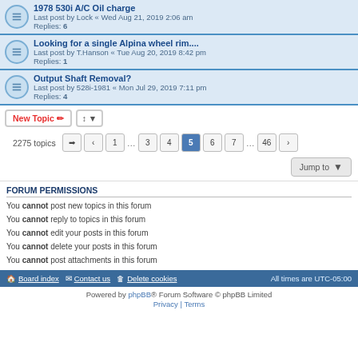1978 530i A/C Oil charge
Last post by Lock « Wed Aug 21, 2019 2:06 am
Replies: 6
Looking for a single Alpina wheel rim....
Last post by T.Hanson « Tue Aug 20, 2019 8:42 pm
Replies: 1
Output Shaft Removal?
Last post by 528i-1981 « Mon Jul 29, 2019 7:11 pm
Replies: 4
2275 topics  1 … 3 4 5 6 7 … 46
Jump to
FORUM PERMISSIONS
You cannot post new topics in this forum
You cannot reply to topics in this forum
You cannot edit your posts in this forum
You cannot delete your posts in this forum
You cannot post attachments in this forum
Board index   Contact us   Delete cookies   All times are UTC-05:00
Powered by phpBB® Forum Software © phpBB Limited
Privacy | Terms